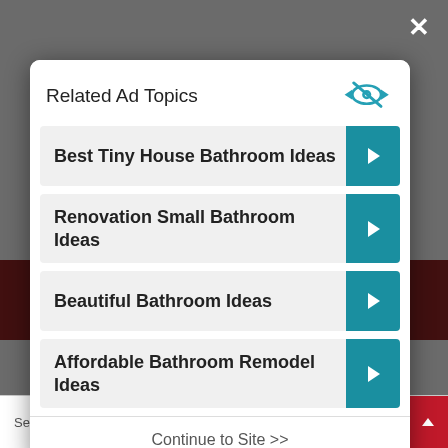Related Ad Topics
Best Tiny House Bathroom Ideas
Renovation Small Bathroom Ideas
Beautiful Bathroom Ideas
Affordable Bathroom Remodel Ideas
Continue to Site >>
Search for
2.  Best Tiny House Bathroom Ideas